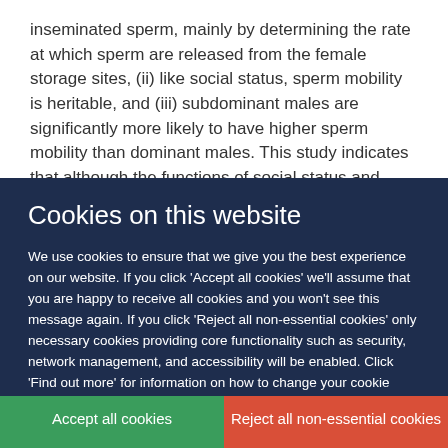inseminated sperm, mainly by determining the rate at which sperm are released from the female storage sites, (ii) like social status, sperm mobility is heritable, and (iii) subdominant males are significantly more likely to have higher sperm mobility than dominant males. This study indicates that although the functions of social status and sperm mobility are highly interdependent, the lack of phenotypic integration of
Cookies on this website
We use cookies to ensure that we give you the best experience on our website. If you click 'Accept all cookies' we'll assume that you are happy to receive all cookies and you won't see this message again. If you click 'Reject all non-essential cookies' only necessary cookies providing core functionality such as security, network management, and accessibility will be enabled. Click 'Find out more' for information on how to change your cookie settings.
Accept all cookies
Reject all non-essential cookies